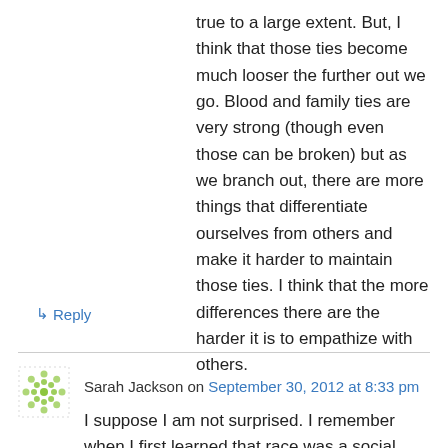true to a large extent. But, I think that those ties become much looser the further out we go. Blood and family ties are very strong (though even those can be broken) but as we branch out, there are more things that differentiate ourselves from others and make it harder to maintain those ties. I think that the more differences there are the harder it is to empathize with others.
↳ Reply
Sarah Jackson on September 30, 2012 at 8:33 pm
I suppose I am not surprised. I remember when I first learned that race was a social construct, rather than a biological one. To support that fact, it was explained that the humans are 99%